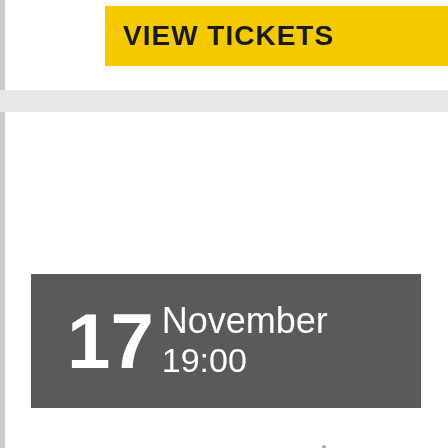VIEW TICKETS
17 November 19:00
[Figure (other): Loading spinner icon — circular dashed ring indicating content is loading]